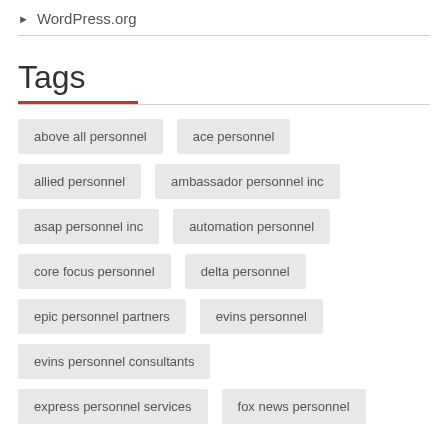▶ WordPress.org
Tags
above all personnel
ace personnel
allied personnel
ambassador personnel inc
asap personnel inc
automation personnel
core focus personnel
delta personnel
epic personnel partners
evins personnel
evins personnel consultants
express personnel services
fox news personnel